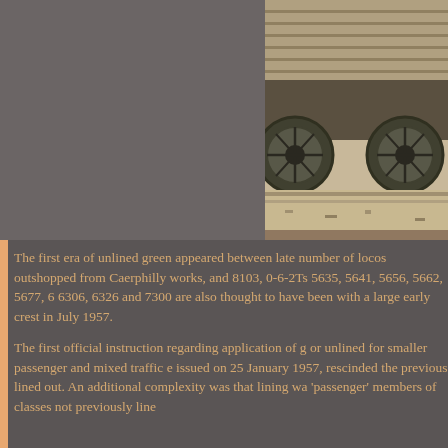[Figure (photo): Black and white photograph of a train locomotive, showing the wheels and undercarriage detail, partially cropped. Left portion of image area is a plain grey background.]
The first era of unlined green appeared between late number of locos outshopped from Caerphilly works, and 8103, 0-6-2Ts 5635, 5641, 5656, 5662, 5677, 6 6306, 6326 and 7300 are also thought to have been with a large early crest in July 1957.
The first official instruction regarding application of g or unlined for smaller passenger and mixed traffic e issued on 25 January 1957, rescinded the previous lined out. An additional complexity was that lining wa 'passenger' members of classes not previously line